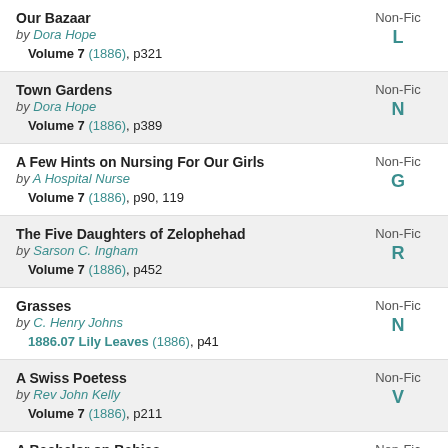Our Bazaar by Dora Hope Volume 7 (1886), p321 Non-Fic L
Town Gardens by Dora Hope Volume 7 (1886), p389 Non-Fic N
A Few Hints on Nursing For Our Girls by A Hospital Nurse Volume 7 (1886), p90, 119 Non-Fic G
The Five Daughters of Zelophehad by Sarson C. Ingham Volume 7 (1886), p452 Non-Fic R
Grasses by C. Henry Johns 1886.07 Lily Leaves (1886), p41 Non-Fic N
A Swiss Poetess by Rev John Kelly Volume 7 (1886), p211 Non-Fic V
A Bachelor on Babies Non-Fic